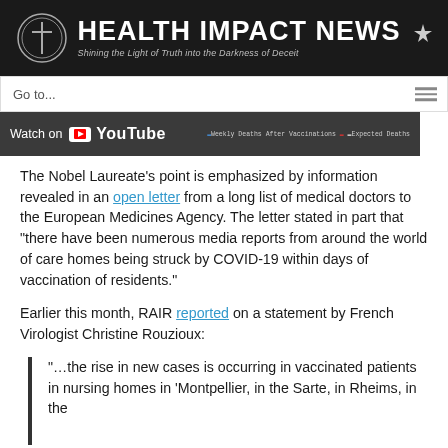[Figure (logo): Health Impact News banner logo with cross icon and tagline 'Shining the Light of Truth into the Darkness of Deceit' on dark background]
Go to...
[Figure (screenshot): YouTube watch button with chart legend showing 'Weekly Deaths After Vaccinations' and 'Expected Deaths']
The Nobel Laureate’s point is emphasized by information revealed in an open letter from a long list of medical doctors to the European Medicines Agency. The letter stated in part that “there have been numerous media reports from around the world of care homes being struck by COVID-19 within days of vaccination of residents.”
Earlier this month, RAIR reported on a statement by French Virologist Christine Rouzioux:
“…the rise in new cases is occurring in vaccinated patients in nursing homes in ‘Montpellier, in the Sarte, in Rheims, in the